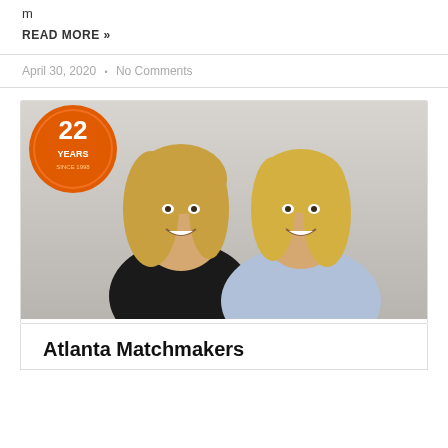m
READ MORE »
April 30, 2020  •  No Comments
[Figure (photo): Photo of two blonde women smiling, with an orange circular badge showing '22 YEARS SINCE 1998' in the top left corner. Background is light grey.]
Atlanta Matchmakers